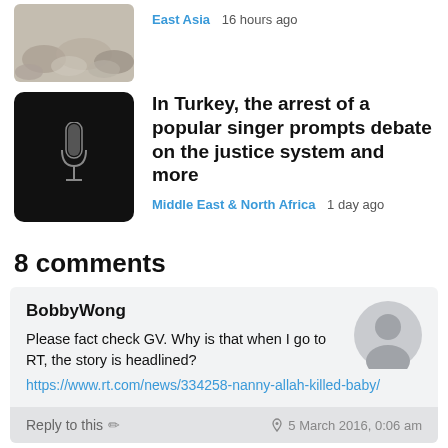[Figure (photo): Small thumbnail of sandy/rocky terrain, rounded corners, partial view at top]
East Asia  16 hours ago
[Figure (photo): Dark black square thumbnail with a microphone silhouette in center, rounded corners]
In Turkey, the arrest of a popular singer prompts debate on the justice system and more
Middle East & North Africa  1 day ago
8 comments
BobbyWong
Please fact check GV. Why is that when I go to RT, the story is headlined?
https://www.rt.com/news/334258-nanny-allah-killed-baby/
Reply to this  ✏  5 March 2016, 0:06 am